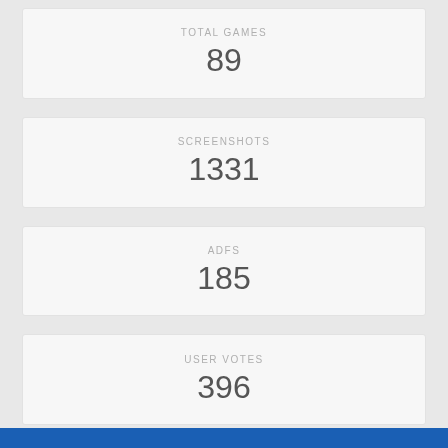TOTAL GAMES
89
SCREENSHOTS
1331
ADFS
185
USER VOTES
396